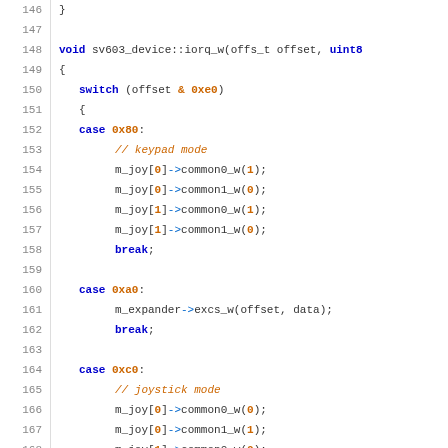Source code listing lines 146-172, showing a C++ function sv603_device::iorq_w with switch statement handling cases 0x80, 0xa0, 0xc0, and 0xe0